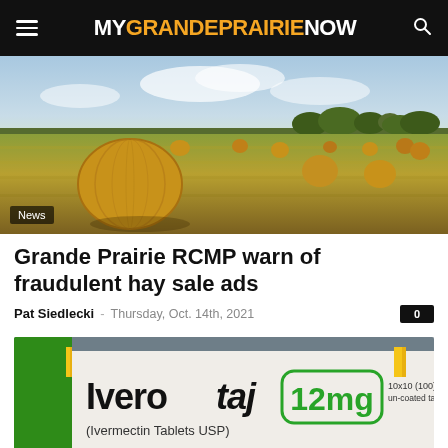MY GRANDE PRAIRIE NOW
[Figure (photo): Prairie landscape with hay bales in a golden field under a blue sky with clouds]
News
Grande Prairie RCMP warn of fraudulent hay sale ads
Pat Siedlecki - Thursday, Oct. 14th, 2021
[Figure (photo): Close-up of Iverotaj (Ivermectin Tablets USP) 12mg medication box, 10x10 (100) un-coated tablets]